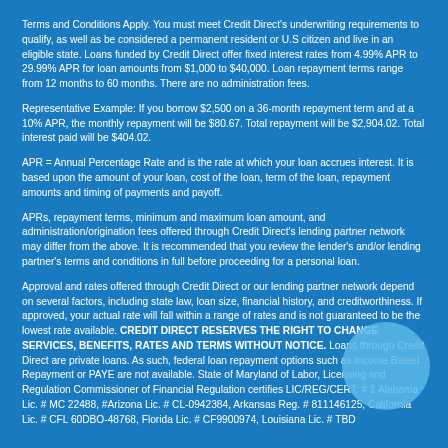Terms and Conditions Apply. You must meet Credit Direct's underwriting requirements to qualify, as well as be considered a permanent resident or U.S citizen and live in an eligible state. Loans funded by Credit Direct offer fixed interest rates from 4.99% APR to 29.99% APR for loan amounts from $1,000 to $40,000. Loan repayment terms range from 12 months to 60 months. There are no administration fees.
Representative Example: If you borrow $2,500 on a 36-month repayment term and at a 10% APR, the monthly repayment will be $80.67. Total repayment will be $2,904.02. Total interest paid will be $404.02.
APR = Annual Percentage Rate and is the rate at which your loan accrues interest. It is based upon the amount of your loan, cost of the loan, term of the loan, repayment amounts and timing of payments and payoff.
APRs, repayment terms, minimum and maximum loan amount, and administration/origination fees offered through Credit Direct's lending partner network may differ from the above. It is recommended that you review the lender's and/or lending partner's terms and conditions in full before proceeding for a personal loan.
Approval and rates offered through Credit Direct or our lending partner network depend on several factors, including state law, loan size, financial history, and creditworthiness. If approved, your actual rate will fall within a range of rates and is not guaranteed to be the lowest rate available. CREDIT DIRECT RESERVES THE RIGHT TO CHANGE SERVICES, BENEFITS, RATES AND TERMS WITHOUT NOTICE. Loans through Credit Direct are private loans. As such, federal loan repayment options such as Income Based Repayment or PAYE are not available. State of Maryland of Labor, Licensing and Regulation Commissioner of Financial Regulation certifies LIC/REG/CERT: # 1 Alabama Lic. # MC 22488, #Arizona Lic. # CL-0942384, Arkansas Reg. # 811146125, California Lic. # CFL 60DBO-48768, Florida Lic. # CF9900974, Louisiana Lic. # TBD